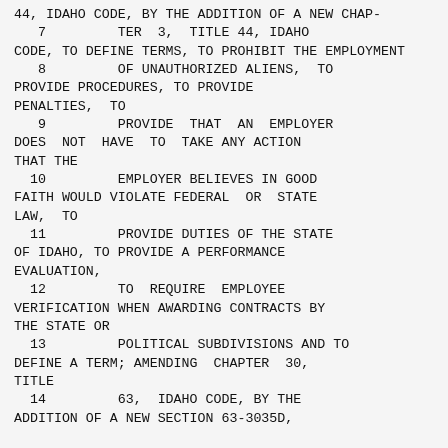44, IDAHO CODE, BY THE ADDITION OF A NEW CHAP-
  7          TER  3,  TITLE 44, IDAHO CODE, TO DEFINE TERMS, TO PROHIBIT THE EMPLOYMENT
  8          OF UNAUTHORIZED ALIENS,  TO PROVIDE PROCEDURES, TO PROVIDE PENALTIES,  TO
  9          PROVIDE  THAT  AN  EMPLOYER DOES  NOT  HAVE  TO  TAKE ANY ACTION THAT THE
 10          EMPLOYER BELIEVES IN GOOD FAITH WOULD VIOLATE FEDERAL  OR  STATE LAW,  TO
 11          PROVIDE DUTIES OF THE STATE OF IDAHO, TO PROVIDE A PERFORMANCE EVALUATION,
 12          TO  REQUIRE  EMPLOYEE VERIFICATION WHEN AWARDING CONTRACTS BY THE STATE OR
 13          POLITICAL SUBDIVISIONS AND TO DEFINE A TERM; AMENDING  CHAPTER  30,  TITLE
 14          63,  IDAHO CODE, BY THE ADDITION OF A NEW SECTION 63-3035D,